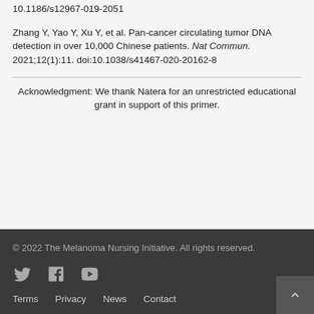10.1186/s12967-019-2051
Zhang Y, Yao Y, Xu Y, et al. Pan-cancer circulating tumor DNA detection in over 10,000 Chinese patients. Nat Commun. 2021;12(1):11. doi:10.1038/s41467-020-20162-8
Acknowledgment: We thank Natera for an unrestricted educational grant in support of this primer.
© 2022 The Melanoma Nursing Initiative. All rights reserved. | Terms | Privacy | News | Contact